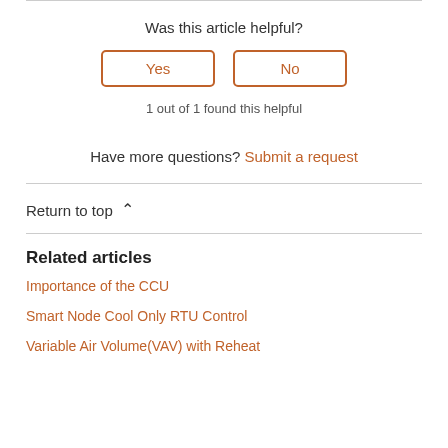Was this article helpful?
Yes | No (buttons)
1 out of 1 found this helpful
Have more questions? Submit a request
Return to top
Related articles
Importance of the CCU
Smart Node Cool Only RTU Control
Variable Air Volume(VAV) with Reheat